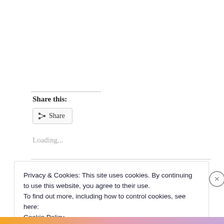Share this:
[Figure (screenshot): Share button with share icon]
Loading...
Privacy & Cookies: This site uses cookies. By continuing to use this website, you agree to their use.
To find out more, including how to control cookies, see here:
Cookie Policy
Close and accept